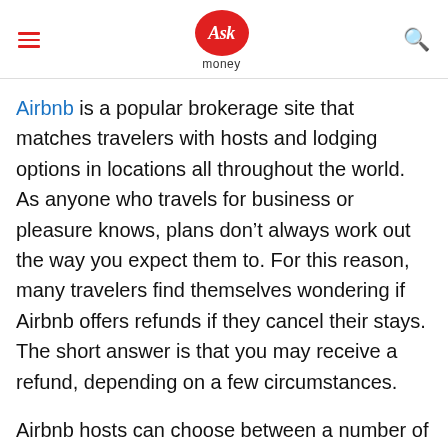Ask money
Airbnb is a popular brokerage site that matches travelers with hosts and lodging options in locations all throughout the world. As anyone who travels for business or pleasure knows, plans don't always work out the way you expect them to. For this reason, many travelers find themselves wondering if Airbnb offers refunds if they cancel their stays. The short answer is that you may receive a refund, depending on a few circumstances.
Airbnb hosts can choose between a number of cancellation policies set up by Airbnb, ranging